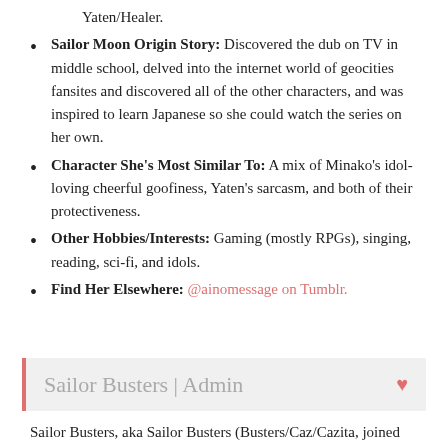Yaten/Healer.
Sailor Moon Origin Story: Discovered the dub on TV in middle school, delved into the internet world of geocities fansites and discovered all of the other characters, and was inspired to learn Japanese so she could watch the series on her own.
Character She's Most Similar To: A mix of Minako's idol-loving cheerful goofiness, Yaten's sarcasm, and both of their protectiveness.
Other Hobbies/Interests: Gaming (mostly RPGs), singing, reading, sci-fi, and idols.
Find Her Elsewhere: @ainomessage on Tumblr.
Sailor Busters | Admin
Sailor Busters, aka Sailor Busters (Busters/Caz/Cazita, joined